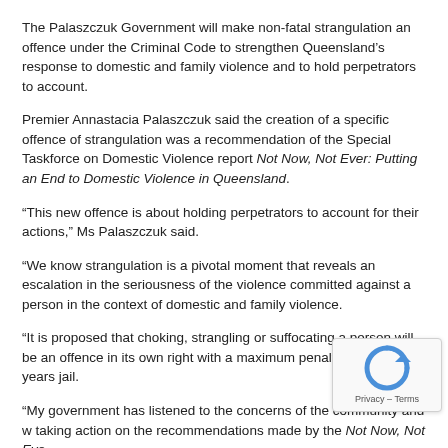The Palaszczuk Government will make non-fatal strangulation an offence under the Criminal Code to strengthen Queensland's response to domestic and family violence and to hold perpetrators to account.
Premier Annastacia Palaszczuk said the creation of a specific offence of strangulation was a recommendation of the Special Taskforce on Domestic Violence report Not Now, Not Ever: Putting an End to Domestic Violence in Queensland.
“This new offence is about holding perpetrators to account for their actions,” Ms Palaszczuk said.
“We know strangulation is a pivotal moment that reveals an escalation in the seriousness of the violence committed against a person in the context of domestic and family violence.
“It is proposed that choking, strangling or suffocating a person will be an offence in its own right with a maximum penalty of seven years jail.
“My government has listened to the concerns of the community and w... taking action on the recommendations made by the Not Now, Not Eve...